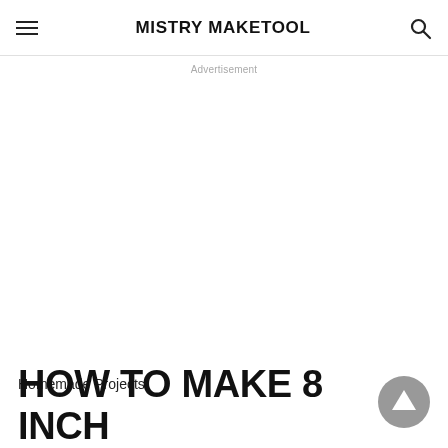MISTRY MAKETOOL
Advertisement
Homemade Projects
HOW TO MAKE 8 INCH